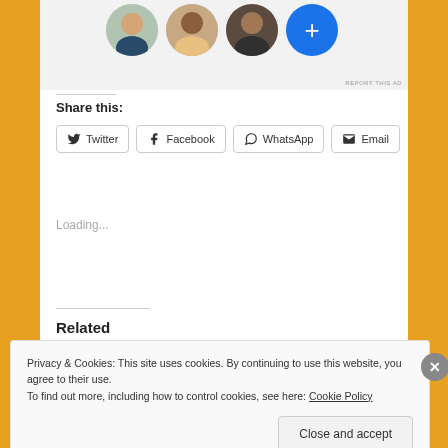[Figure (screenshot): Ad strip with profile pictures (three circular portraits and a blue plus button)]
REPORT THIS AD
Share this:
Twitter  Facebook  WhatsApp  Email
Loading...
Related
Privacy & Cookies: This site uses cookies. By continuing to use this website, you agree to their use.
To find out more, including how to control cookies, see here: Cookie Policy
Close and accept